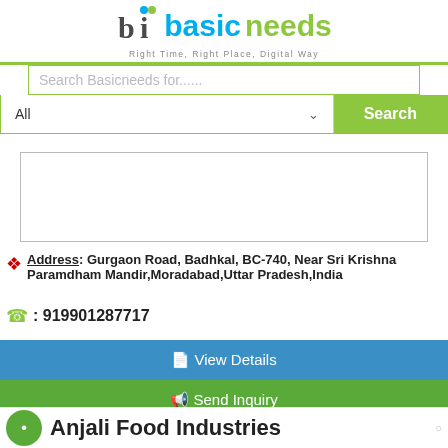[Figure (logo): Basicneeds logo with 'bi' icon and text 'basicneeds', tagline 'Right Time, Right Place, Digital Way']
[Figure (screenshot): Search bar with placeholder 'Search Basicneeds for......' and a dropdown 'All' with a green 'Search' button]
[Figure (other): Empty advertisement/content box with border]
Address: Gurgaon Road, Badhkal, BC-740, Near Sri Krishna Paramdham Mandir,Moradabad,Uttar Pradesh,India
: 919901287717
View Details
Send Inquiry
Chat request
Anjali Food Industries